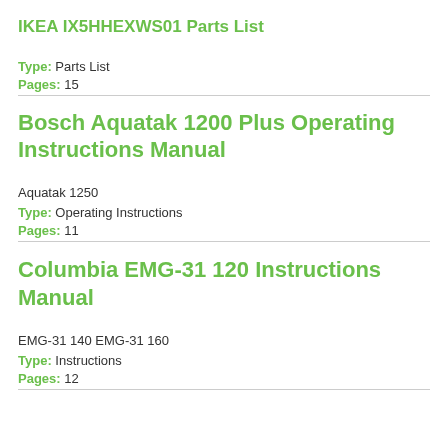IKEA IX5HHEXWS01 Parts List
Type: Parts List
Pages: 15
Bosch Aquatak 1200 Plus Operating Instructions Manual
Aquatak 1250
Type: Operating Instructions
Pages: 11
Columbia EMG-31 120 Instructions Manual
EMG-31 140 EMG-31 160
Type: Instructions
Pages: 12